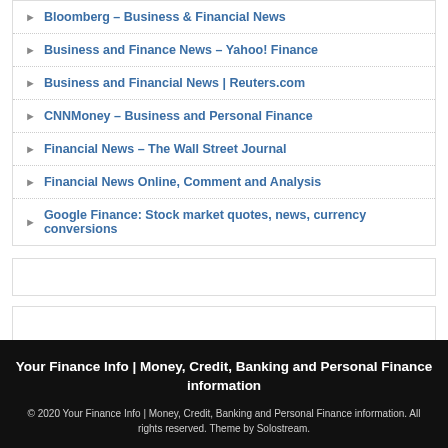Bloomberg – Business & Financial News
Business and Finance News – Yahoo! Finance
Business and Financial News | Reuters.com
CNNMoney – Business and Personal Finance
Financial News – The Wall Street Journal
Financial News Online, Comment and Analysis
Google Finance: Stock market quotes, news, currency conversions
Your Finance Info | Money, Credit, Banking and Personal Finance information
© 2020 Your Finance Info | Money, Credit, Banking and Personal Finance information. All rights reserved. Theme by Solostream.